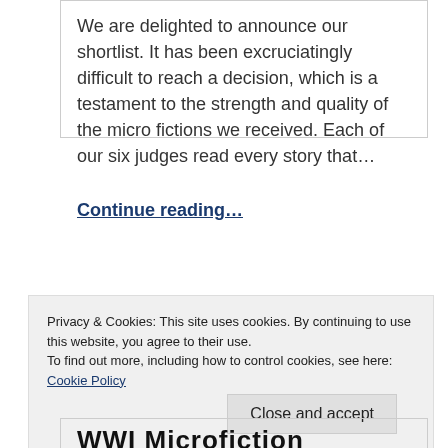We are delighted to announce our shortlist. It has been excruciatingly difficult to reach a decision, which is a testament to the strength and quality of the micro fictions we received. Each of our six judges read every story that...
Continue reading...
Privacy & Cookies: This site uses cookies. By continuing to use this website, you agree to their use.
To find out more, including how to control cookies, see here: Cookie Policy
Close and accept
WWI Microfiction